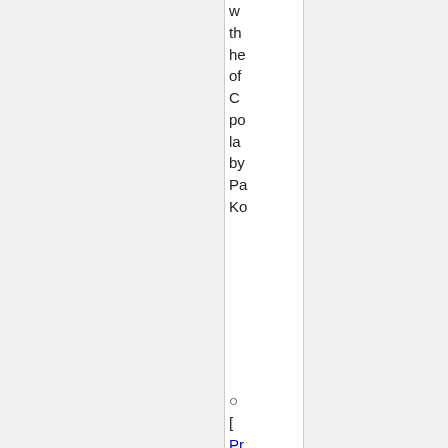w
th
he
of
C
po
la
by
Pa
Ko
○
[
Pr
To
]
QB
â
Th
tw
si
o
B
P
D